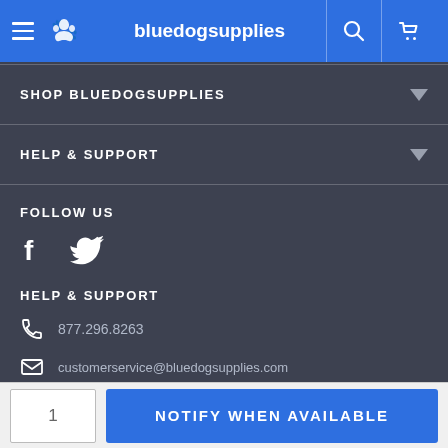bluedogsupplies — navigation header with hamburger menu, logo, search, and cart icons
SHOP BLUEDOGSUPPLIES
HELP & SUPPORT
FOLLOW US
[Figure (logo): Facebook icon (f) and Twitter bird icon]
HELP & SUPPORT
877.296.8263
customerservice@bluedogsupplies.com
1  NOTIFY WHEN AVAILABLE